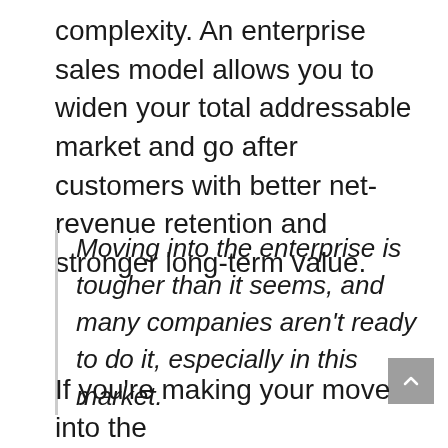complexity. An enterprise sales model allows you to widen your total addressable market and go after customers with better net-revenue retention and stronger long-term value.
Moving into the enterprise is tougher than it seems, and many companies aren't ready to do it, especially in this market.
If you're making your move into the